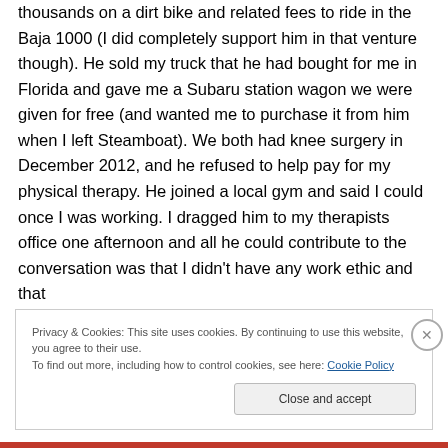thousands on a dirt bike and related fees to ride in the Baja 1000 (I did completely support him in that venture though). He sold my truck that he had bought for me in Florida and gave me a Subaru station wagon we were given for free (and wanted me to purchase it from him when I left Steamboat). We both had knee surgery in December 2012, and he refused to help pay for my physical therapy. He joined a local gym and said I could once I was working. I dragged him to my therapists office one afternoon and all he could contribute to the conversation was that I didn't have any work ethic and that
Privacy & Cookies: This site uses cookies. By continuing to use this website, you agree to their use.
To find out more, including how to control cookies, see here: Cookie Policy